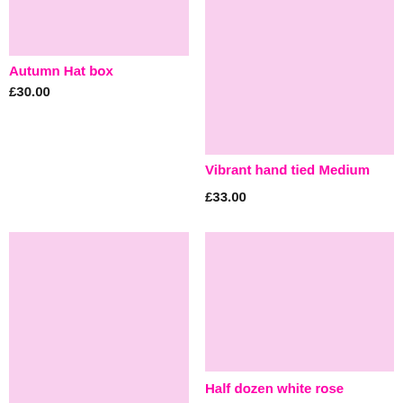[Figure (photo): Product image placeholder for Autumn Hat box, light pink background]
Autumn Hat box
£30.00
[Figure (photo): Product image placeholder for Vibrant hand tied Medium, light pink background]
Vibrant hand tied Medium
£33.00
[Figure (photo): Product image placeholder, left column bottom, light pink background]
[Figure (photo): Product image placeholder, right column bottom, light pink background]
Half dozen white rose